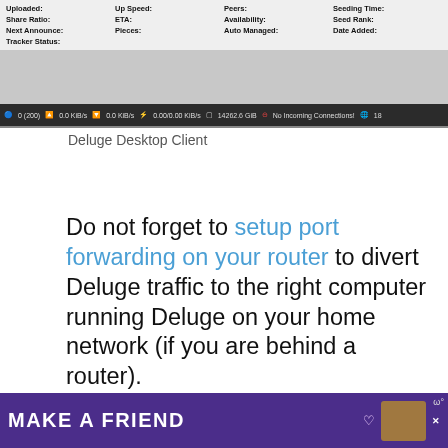[Figure (screenshot): Deluge torrent desktop client interface showing torrent status fields: Uploaded, Up Speed, Peers, Seeding Time, Share Ratio, ETA, Availability, Seed Rank, Next Announce, Pieces, Auto Managed, Date Added, Tracker Status. Bottom status bar shows: 0 (200), 0.0 KiB/s, 0.0 KiB/s, 0.00/0.00 KiB/s, 14262.6 GiB, No Incoming Connections!, 18]
Deluge Desktop Client
Do not forget to setup port forwarding on your router to divert Deluge traffic to the right computer running Deluge on your home network (if you are behind a router).
[Figure (photo): Advertisement showing smiling child with text COOKIE DOUGH and Childhood cancer didn't stop for...]
[Figure (infographic): Bottom banner advertisement with purple background showing MAKE A FRIEND text with dog photo]